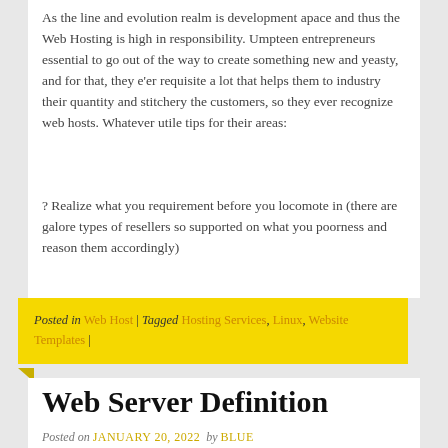As the line and evolution realm is development apace and thus the Web Hosting is high in responsibility. Umpteen entrepreneurs essential to go out of the way to create something new and yeasty, and for that, they e'er requisite a lot that helps them to industry their quantity and stitchery the customers, so they ever recognize web hosts. Whatever utile tips for their areas:
? Realize what you requirement before you locomote in (there are galore types of resellers so supported on what you poorness and reason them accordingly)
Posted in Web Host | Tagged Hosting Services, Linux, Website Templates |
Web Server Definition
Posted on JANUARY 20, 2022 by BLUE